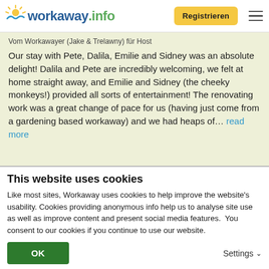workaway.info  Registrieren
Vom Workawayer (Jake & Trelawny) für Host
Our stay with Pete, Dalila, Emilie and Sidney was an absolute delight! Dalila and Pete are incredibly welcoming, we felt at home straight away, and Emilie and Sidney (the cheeky monkeys!) provided all sorts of entertainment! The renovating work was a great change of pace for us (having just come from a gardening based workaway) and we had heaps of... read more
[Figure (photo): Circular profile photo of a couple smiling outdoors]
This website uses cookies
Like most sites, Workaway uses cookies to help improve the website's usability. Cookies providing anonymous info help us to analyse site use as well as improve content and present social media features.  You consent to our cookies if you continue to use our website.
OK   Settings